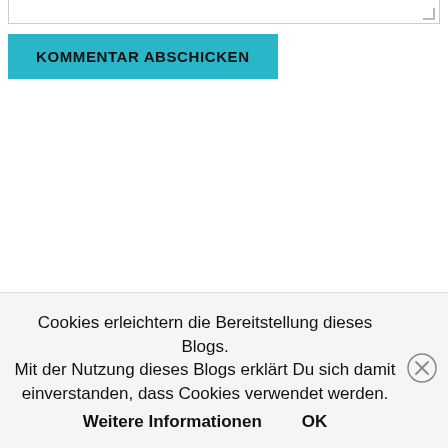[Figure (screenshot): Partial textarea input field at top of page with resize handle in bottom-right corner]
KOMMENTAR ABSCHICKEN
[Figure (screenshot): Blog post preview card: title 'Social Blogging ist aufgetaucht', excerpt 'Die Idee für Plankton entstand aus jahrelanger eigener Erfahrung und Beobachtung des Bloggens. Es wa', link 'Lesen Sie weiter auf blog.plankton.social', with plankton.social logo and wave graphic at bottom]
Cookies erleichtern die Bereitstellung dieses Blogs. Mit der Nutzung dieses Blogs erklärt Du sich damit einverstanden, dass Cookies verwendet werden. Weitere Informationen    OK